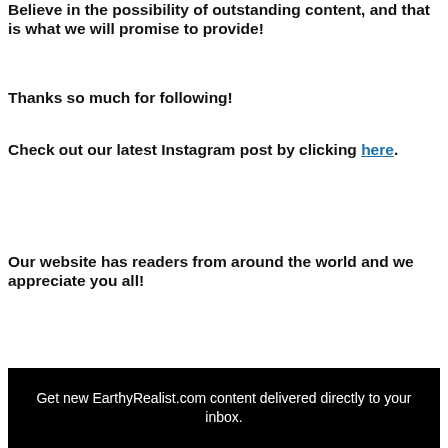Believe in the possibility of outstanding content, and that is what we will promise to provide!
Thanks so much for following!
Check out our latest Instagram post by clicking here.
Our website has readers from around the world and we appreciate you all!
Get new EarthyRealist.com content delivered directly to your inbox.